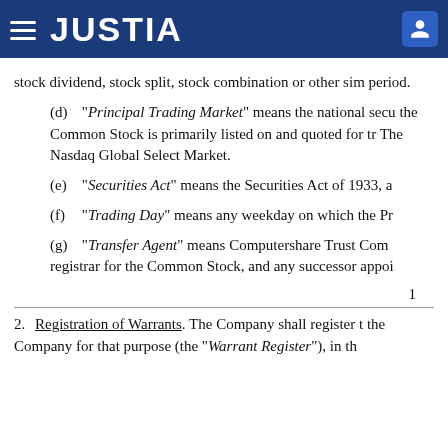JUSTIA
stock dividend, stock split, stock combination or other similar event during such period.
(d) “Principal Trading Market” means the national securities exchange on which the Common Stock is primarily listed on and quoted for trading, which, as of the date hereof, shall be The Nasdaq Global Select Market.
(e) “Securities Act” means the Securities Act of 1933, as amended.
(f) “Trading Day” means any weekday on which the Principal Trading Market is open for trading.
(g) “Transfer Agent” means Computershare Trust Company, N.A., acting as transfer agent and registrar for the Common Stock, and any successor appointed pursuant to Section 8 hereof.
1
2. Registration of Warrants. The Company shall register the Warrants, upon records to be maintained by the Company for that purpose (the “Warrant Register”), in the name of the record Holders thereof from time to time.